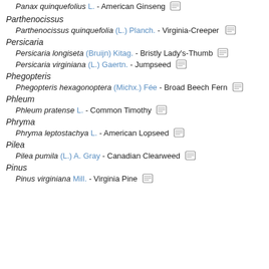Panax quinquefolius L. - American Ginseng [icon]
Parthenocissus
Parthenocissus quinquefolia (L.) Planch. - Virginia-Creeper [icon]
Persicaria
Persicaria longiseta (Bruijn) Kitag. - Bristly Lady's-Thumb [icon]
Persicaria virginiana (L.) Gaertn. - Jumpseed [icon]
Phegopteris
Phegopteris hexagonoptera (Michx.) Fée - Broad Beech Fern [icon]
Phleum
Phleum pratense L. - Common Timothy [icon]
Phryma
Phryma leptostachya L. - American Lopseed [icon]
Pilea
Pilea pumila (L.) A. Gray - Canadian Clearweed [icon]
Pinus
Pinus virginiana Mill. - Virginia Pine [icon]